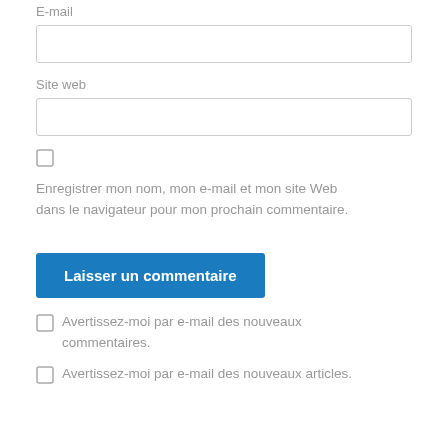E-mail
[Figure (other): Empty text input field for E-mail]
Site web
[Figure (other): Empty text input field for Site web]
[Figure (other): Unchecked checkbox]
Enregistrer mon nom, mon e-mail et mon site Web dans le navigateur pour mon prochain commentaire.
[Figure (other): Blue submit button labeled Laisser un commentaire]
Avertissez-moi par e-mail des nouveaux commentaires.
Avertissez-moi par e-mail des nouveaux articles.